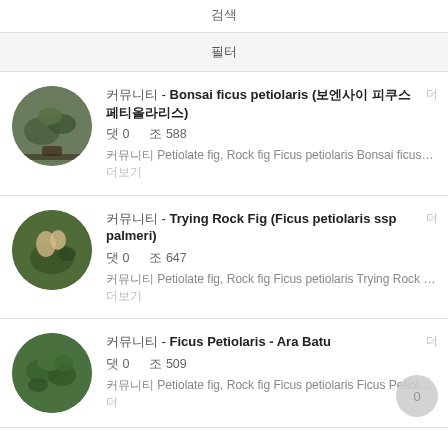검색
필터
커뮤니티 - Bonsai ficus petiolaris (보엔사이 피쿠스 페티올라리스) | 커뮤니티 Petiolate fig, Rock fig Ficus petiolaris Bonsai ficus… 더보기 | 댓글 0 | 조회 588
커뮤니티 - Trying Rock Fig (Ficus petiolaris ssp palmeri) | 커뮤니티 Petiolate fig, Rock fig Ficus petiolaris Trying Rock … 더보기 | 댓글 0 | 조회 647
커뮤니티 - Ficus Petiolaris - Ara Batu | 커뮤니티 Petiolate fig, Rock fig Ficus petiolaris Ficus Petiol… 더보기 | 댓글 0 | 조회 509